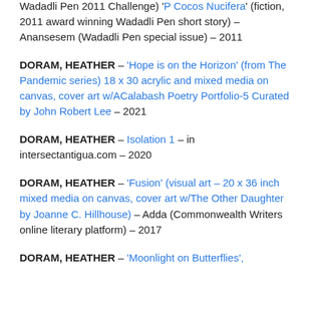Wadadli Pen 2011 Challenge) 'P Cocos Nucifera' (fiction, 2011 award winning Wadadli Pen short story) – Anansesem (Wadadli Pen special issue) – 2011
DORAM, HEATHER – 'Hope is on the Horizon' (from The Pandemic series) 18 x 30 acrylic and mixed media on canvas, cover art w/ACalabash Poetry Portfolio-5 Curated by John Robert Lee – 2021
DORAM, HEATHER – Isolation 1 – in intersectantigua.com – 2020
DORAM, HEATHER – 'Fusion' (visual art – 20 x 36 inch mixed media on canvas, cover art w/The Other Daughter by Joanne C. Hillhouse) – Adda (Commonwealth Writers online literary platform) – 2017
DORAM, HEATHER – 'Moonlight on Butterflies',